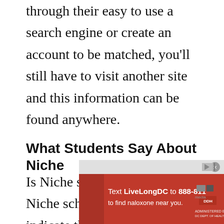through their easy to use a search engine or create an account to be matched, you'll still have to visit another site and this information can be found anywhere.
What Students Say About Niche
Is Niche scholarship legit? Online Niche scholarship review writers indicate that the website is legitimate.
[Figure (infographic): Advertisement banner: red background with text 'Text LiveLongDC to 888-811 to find naloxone near you.' with media/health logos. Gray overlay bar with close button.]